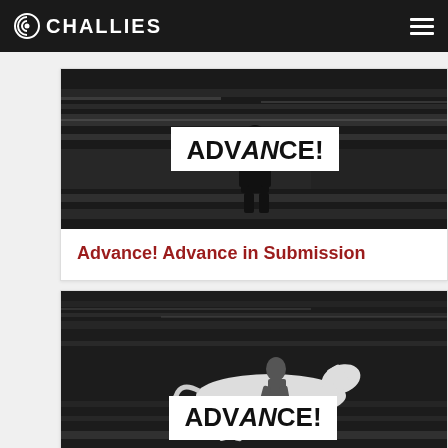CHALLIES
[Figure (photo): Black and white motion-blurred photo of a person standing in a subway/train station with the text 'ADVANCE!' overlaid in a white box in the center]
Advance! Advance in Submission
[Figure (photo): Black and white motion-blurred photo of a person riding a galloping horse with the text 'ADVANCE!' overlaid in a white box in the center]